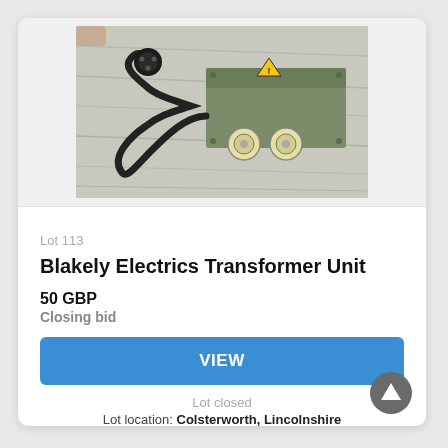[Figure (photo): Photograph of a Blakely Electrics Transformer Unit - a green metal box with yellow electrical sockets and a black power cable with plug, placed on a grey carpet background.]
Lot 113
Blakely Electrics Transformer Unit
50 GBP
Closing bid
VIEW
Lot closed
Lot location: Colsterworth, Lincolnshire